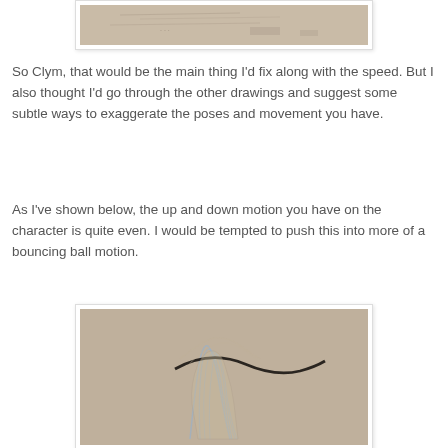[Figure (photo): Partial view of a hand-drawn animation sketch on beige/tan paper, showing light pencil line work at the top of the page]
So Clym, that would be the main thing I'd fix along with the speed. But I also thought I'd go through the other drawings and suggest some subtle ways to exaggerate the poses and movement you have.
As I've shown below, the up and down motion you have on the character is quite even. I would be tempted to push this into more of a bouncing ball motion.
[Figure (photo): Hand-drawn animation sketch on beige/tan paper showing a character with flowing hair or cloth, with dark curved lines suggesting movement, drawn in pencil and blue pencil]